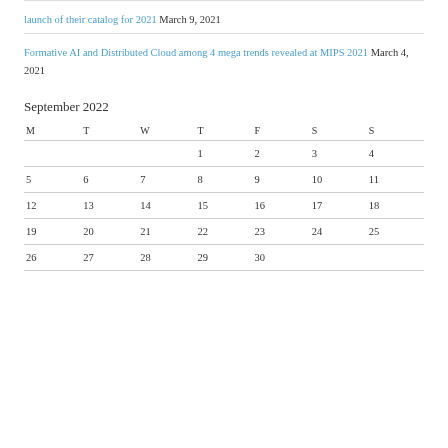launch of their catalog for 2021 March 9, 2021
Formative AI and Distributed Cloud among 4 mega trends revealed at MIPS 2021 March 4, 2021
September 2022
| M | T | W | T | F | S | S |
| --- | --- | --- | --- | --- | --- | --- |
|  |  |  | 1 | 2 | 3 | 4 |
| 5 | 6 | 7 | 8 | 9 | 10 | 11 |
| 12 | 13 | 14 | 15 | 16 | 17 | 18 |
| 19 | 20 | 21 | 22 | 23 | 24 | 25 |
| 26 | 27 | 28 | 29 | 30 |  |  |